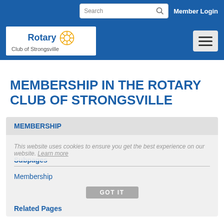Search | Member Login
[Figure (logo): Rotary Club of Strongsville logo with blue text and yellow gear wheel]
MEMBERSHIP IN THE ROTARY CLUB OF STRONGSVILLE
MEMBERSHIP
This website uses cookies to ensure you get the best experience on our website. Learn more
Subpages
Membership
Related Pages
GOT IT